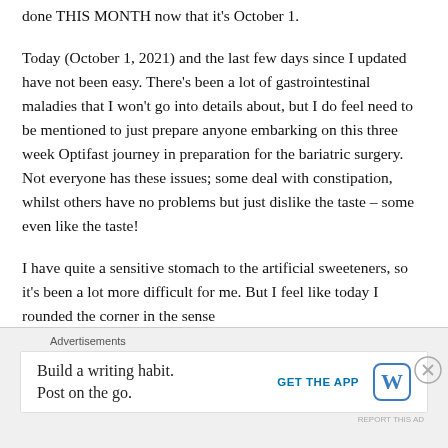done THIS MONTH now that it's October 1.
Today (October 1, 2021) and the last few days since I updated have not been easy. There's been a lot of gastrointestinal maladies that I won't go into details about, but I do feel need to be mentioned to just prepare anyone embarking on this three week Optifast journey in preparation for the bariatric surgery. Not everyone has these issues; some deal with constipation, whilst others have no problems but just dislike the taste – some even like the taste!
I have quite a sensitive stomach to the artificial sweeteners, so it's been a lot more difficult for me. But I feel like today I rounded the corner in the sense
Advertisements
Build a writing habit. Post on the go.
GET THE APP